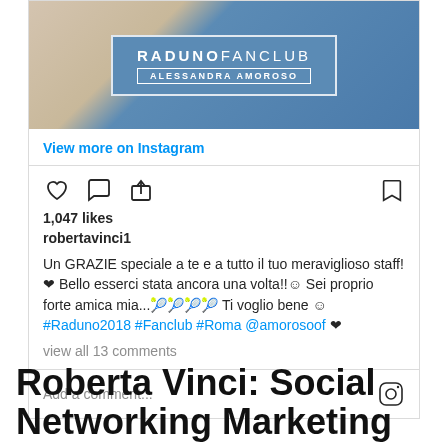[Figure (screenshot): Instagram post screenshot showing a blue fan club card with text RADUNO FAN CLUB ALESSANDRA AMOROSO]
View more on Instagram
1,047 likes
robertavinci1
Un GRAZIE speciale a te e a tutto il tuo meraviglioso staff! ❤ Bello esserci stata ancora una volta!!☺ Sei proprio forte amica mia...🎾🎾🎾🎾 Ti voglio bene ☺ #Raduno2018 #Fanclub #Roma @amorosoof ❤
view all 13 comments
Add a comment...
Roberta Vinci: Social Networking Marketing